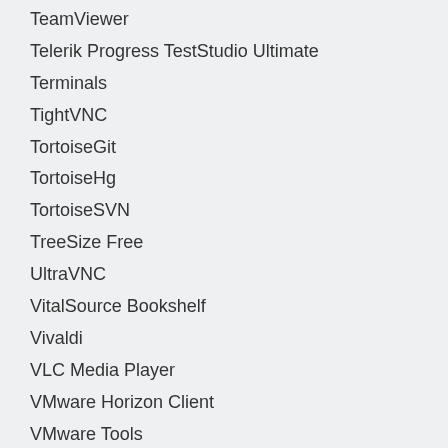TeamViewer
Telerik Progress TestStudio Ultimate
Terminals
TightVNC
TortoiseGit
TortoiseHg
TortoiseSVN
TreeSize Free
UltraVNC
VitalSource Bookshelf
Vivaldi
VLC Media Player
VMware Horizon Client
VMware Tools
VMware Workstation
VMware Workstation Player
VNC Enterprise
WinRAR
WinSCP
WinZip
Wireshark
XMind
XnView
Yahoo! Messenger